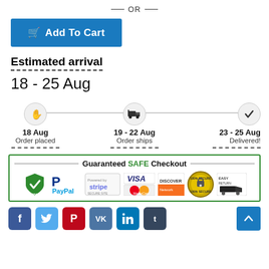— OR —
[Figure (other): Blue 'Add To Cart' button with shopping cart icon]
Estimated arrival
18 - 25 Aug
[Figure (infographic): Timeline showing: 18 Aug Order placed, 19-22 Aug Order ships, 23-25 Aug Delivered!]
[Figure (infographic): Guaranteed SAFE Checkout banner with PayPal, Stripe, Visa, Mastercard, American Express, Discover, 100% Secure, Easy Return logos]
[Figure (infographic): Social media buttons: Facebook, Twitter, Pinterest, VK, LinkedIn, Tumblr, and scroll-to-top button]